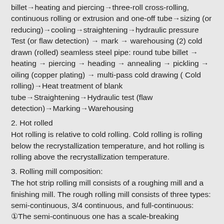billet→heating and piercing→three-roll cross-rolling, continuous rolling or extrusion and one-off tube→sizing (or reducing)→cooling→straightening→hydraulic pressure Test (or flaw detection) → mark → warehousing (2) cold drawn (rolled) seamless steel pipe: round tube billet → heating → piercing → heading → annealing → pickling → oiling (copper plating) → multi-pass cold drawing ( Cold rolling)→Heat treatment of blank tube→Straightening→Hydraulic test (flaw detection)→Marking→Warehousing
2. Hot rolled
Hot rolling is relative to cold rolling. Cold rolling is rolling below the recrystallization temperature, and hot rolling is rolling above the recrystallization temperature.
3. Rolling mill composition:
The hot strip rolling mill consists of a roughing mill and a finishing mill. The rough rolling mill consists of three types: semi-continuous, 3/4 continuous, and full-continuous: ①The semi-continuous one has a scale-breaking (removing oxide scale) stand and a reversible stand with vertical rolls; ②3/ 4 In the